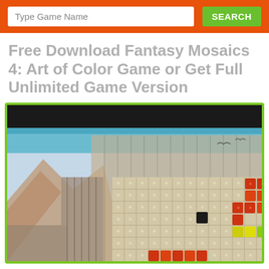Type Game Name | SEARCH
Free Download Fantasy Mosaics 4: Art of Color Game or Get Full Unlimited Game Version
[Figure (screenshot): Screenshot of Fantasy Mosaics 4: Art of Color game showing a nonogram/picross puzzle grid with colored tiles (red, yellow) overlaid on a fantasy background with mountains and sky.]